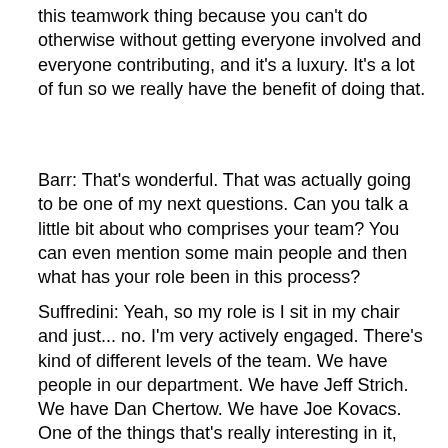this teamwork thing because you can't do otherwise without getting everyone involved and everyone contributing, and it's a luxury. It's a lot of fun so we really have the benefit of doing that.
Barr: That's wonderful. That was actually going to be one of my next questions. Can you talk a little bit about who comprises your team? You can even mention some main people and then what has your role been in this process?
Suffredini: Yeah, so my role is I sit in my chair and just... no. I'm very actively engaged. There's kind of different levels of the team. We have people in our department. We have Jeff Strich. We have Dan Chertow. We have Joe Kovacs. One of the things that's really interesting in it, you have to know a little bit about Critical Care Medicine, is that Joe  Kovacs was one of our first fellows in the department a long time ago. I won't tell you how long , but